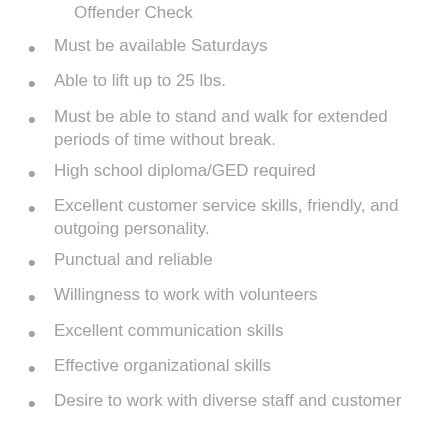Offender Check
Must be available Saturdays
Able to lift up to 25 lbs.
Must be able to stand and walk for extended periods of time without break.
High school diploma/GED required
Excellent customer service skills, friendly, and outgoing personality.
Punctual and reliable
Willingness to work with volunteers
Excellent communication skills
Effective organizational skills
Desire to work with diverse staff and customer